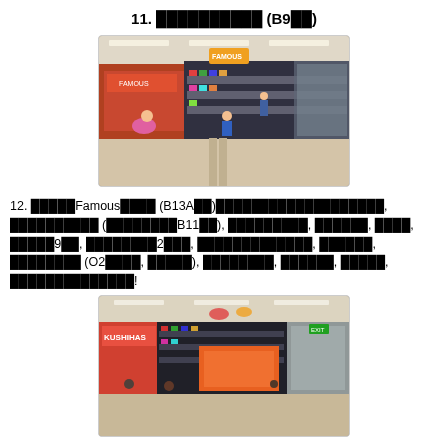11. ██████████ (B9██)
[Figure (photo): Interior of a shopping mall with stores, people shopping. A child stands in the center of the walkway. Adults are crouching/sitting on the left. Colorful storefronts visible in the background.]
12. █████Famous████ (B13A██)████████████████████████, ██████████ (████████B11██), █████████, ██████, ████, █████9██, ████████2███, ██████████████, ████████, ████████ (O2████, █████), █████████, ██████, █████, ██████████████!
[Figure (photo): Interior of a shopping mall corridor with stores. Decorative items hanging from ceiling. People visible in background near storefronts.]